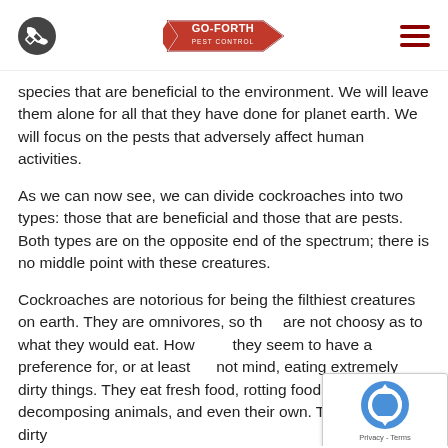Go-Forth Pest Control
species that are beneficial to the environment. We will leave them alone for all that they have done for planet earth. We will focus on the pests that adversely affect human activities.
As we can now see, we can divide cockroaches into two types: those that are beneficial and those that are pests. Both types are on the opposite end of the spectrum; there is no middle point with these creatures.
Cockroaches are notorious for being the filthiest creatures on earth. They are omnivores, so they are not choosy as to what they would eat. However, they seem to have a preference for, or at least do not mind, eating extremely dirty things. They eat fresh food, rotting food, feces, trash, decomposing animals, and even their own. They thrive in dirty